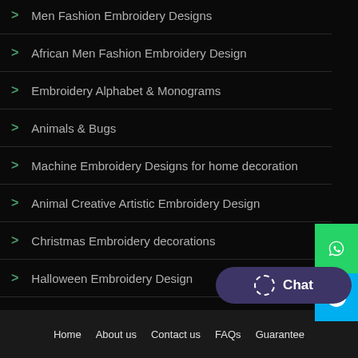Men Fashion Embroidery Designs
African Men Fashion Embroidery Design
Embroidery Alphabet & Monograms
Animals & Bugs
Machine Embroidery Designs for home decoration
Animal Creative Artistic Embroidery Design
Christmas Embroidery decorations
Halloween Embroidery Design
Home  About us  Contact us  FAQs  Guarantee